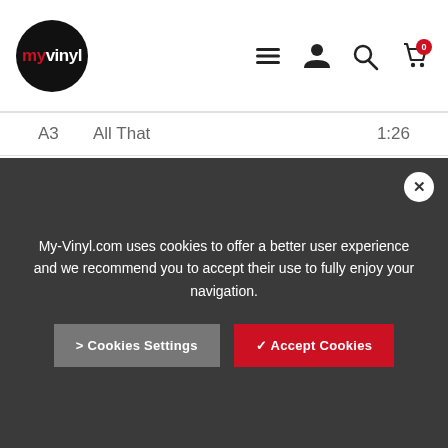myvinyl — website header with logo and navigation icons
| ID | Title | Duration |
| --- | --- | --- |
| A3 | All That | 1:26 |
| A4 | On Point | 3:48 |
| A5 | Runnin' Up On Ya | 3:17 |
| A6 | Over There Shit | 3:33 |
| A7 | Word Is Bond | 4:02 |
| B1 | Keep It Comin' | 3:43 |
My-Vinyl.com uses cookies to offer a better user experience and we recommend you to accept their use to fully enjoy your navigation.
> Cookies Settings
✔ Accept Cookies